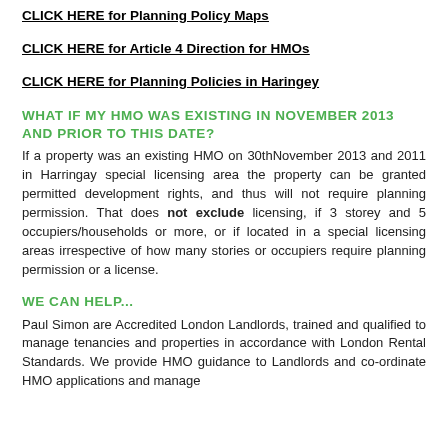CLICK HERE for Planning Policy Maps
CLICK HERE for Article 4 Direction for HMOs
CLICK HERE for Planning Policies in Haringey
WHAT IF MY HMO WAS EXISTING IN NOVEMBER 2013 AND PRIOR TO THIS DATE?
If a property was an existing HMO on 30thNovember 2013 and 2011 in Harringay special licensing area the property can be granted permitted development rights, and thus will not require planning permission. That does not exclude licensing, if 3 storey and 5 occupiers/households or more, or if located in a special licensing areas irrespective of how many stories or occupiers require planning permission or a license.
WE CAN HELP...
Paul Simon are Accredited London Landlords, trained and qualified to manage tenancies and properties in accordance with London Rental Standards. We provide HMO guidance to Landlords and co-ordinate HMO applications and manage